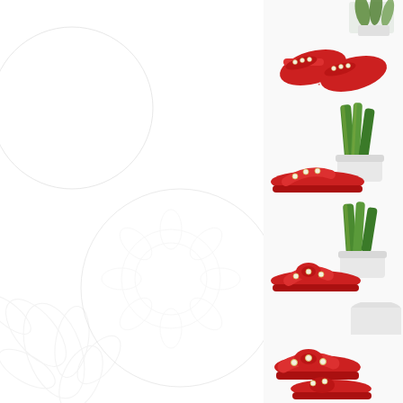[Figure (photo): Background area with faint decorative floral/leaf line art pattern on white background]
[Figure (photo): Top-down view of red flat sandals with pearl/stud embellishments on toe strap, displayed on white background with a small potted plant]
[Figure (photo): Side view of red flat sandal with pearl/stud embellishments, displayed next to a tall snake plant in white pot]
[Figure (photo): Another side/angle view of red flat sandal with pearl/stud embellishments, displayed next to a tall snake plant in white pot]
[Figure (photo): Close-up or alternate angle view of red flat sandals with pearl/stud embellishments on white background with partial white vessel]